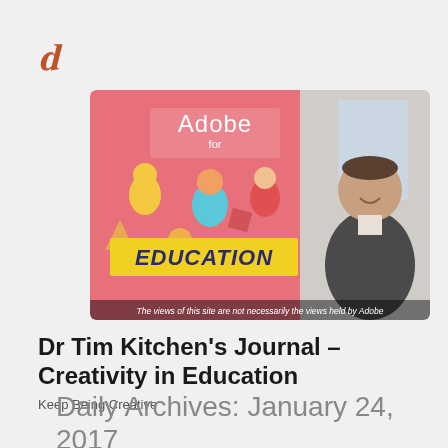[Figure (logo): Stylized letter logo in orange/coral color, resembling an ornate 'h' or 'b' letterform]
[Figure (photo): Composite image: left side shows Adobe for Education promotional graphic with cartoon illustrated characters and 'EDUCATION' text in yellow letters on pink/red background; right side shows a man in a dark blazer smiling, standing near a window. Caption at the bottom reads 'The views of this site are not necessarily the views held by Adobe']
Dr Tim Kitchen's Journal – Creativity in Education
Keep Being Creative
Daily Archives: January 24, 2017